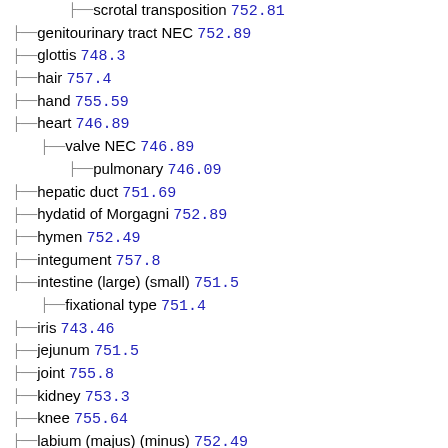scrotal transposition 752.81
genitourinary tract NEC 752.89
glottis 748.3
hair 757.4
hand 755.59
heart 746.89
valve NEC 746.89
pulmonary 746.09
hepatic duct 751.69
hydatid of Morgagni 752.89
hymen 752.49
integument 757.8
intestine (large) (small) 751.5
fixational type 751.4
iris 743.46
jejunum 751.5
joint 755.8
kidney 753.3
knee 755.64
labium (majus) (minus) 752.49
labyrinth, membranous 744.05
larynx 748.3